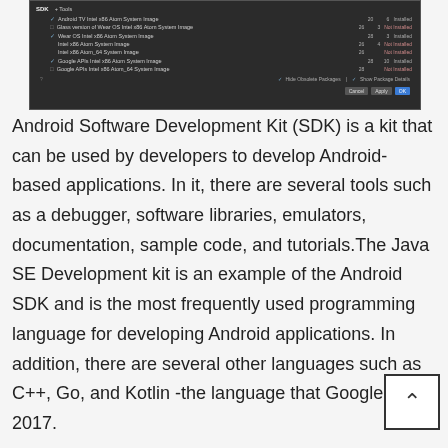[Figure (screenshot): Screenshot of Android SDK Manager or similar dark-themed Android development tool showing a list of SDK components with checkboxes, version numbers, and installation status columns.]
Android Software Development Kit (SDK) is a kit that can be used by developers to develop Android-based applications. In it, there are several tools such as a debugger, software libraries, emulators, documentation, sample code, and tutorials.The Java SE Development kit is an example of the Android SDK and is the most frequently used programming language for developing Android applications. In addition, there are several other languages such as C++, Go, and Kotlin -the language that Google set i 2017.